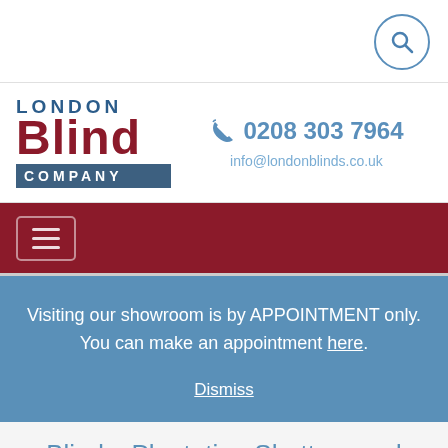[Figure (logo): London Blind Company logo with dark red 'Blind' text and slate blue 'LONDON' and 'Company' text]
0208 303 7964
info@londonblinds.co.uk
Visiting our showroom is by APPOINTMENT only. You can make an appointment here.
Dismiss
Blinds, Plantation Shutters and Awnings from a company you can